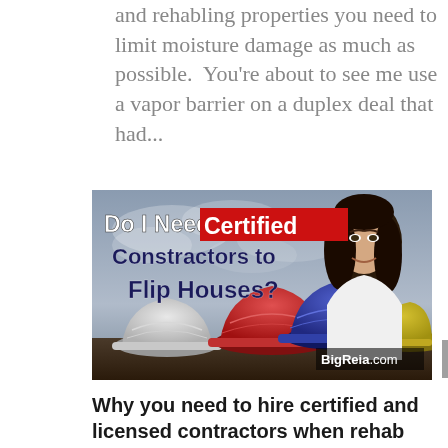and rehabling properties you need to limit moisture damage as much as possible.  You're about to see me use a vapor barrier on a duplex deal that had...
[Figure (photo): Promotional image with text 'Do I Need Certified Constractors to Flip Houses?' overlaid on a background of construction hard hats (white, red, blue, yellow) with cloudy sky. A woman with dark hair appears cut out on the right side. BigReia.com watermark in bottom right.]
Why you need to hire certified and licensed contractors when rehab